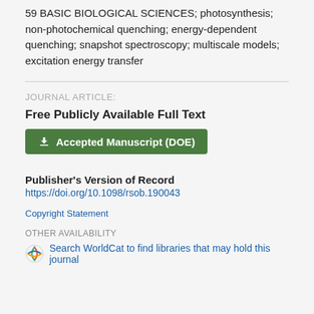59 BASIC BIOLOGICAL SCIENCES; photosynthesis; non-photochemical quenching; energy-dependent quenching; snapshot spectroscopy; multiscale models; excitation energy transfer
JOURNAL ARTICLE:
Free Publicly Available Full Text
Accepted Manuscript (DOE)
Publisher's Version of Record
https://doi.org/10.1098/rsob.190043
Copyright Statement
OTHER AVAILABILITY
Search WorldCat to find libraries that may hold this journal